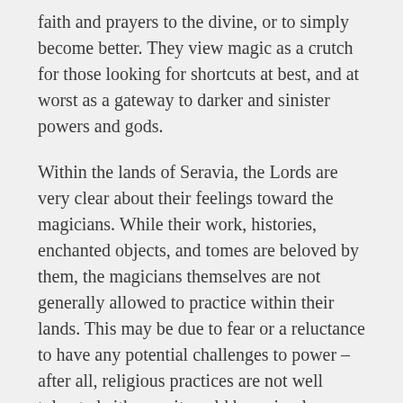faith and prayers to the divine, or to simply become better. They view magic as a crutch for those looking for shortcuts at best, and at worst as a gateway to darker and sinister powers and gods.
Within the lands of Seravia, the Lords are very clear about their feelings toward the magicians. While their work, histories, enchanted objects, and tomes are beloved by them, the magicians themselves are not generally allowed to practice within their lands. This may be due to fear or a reluctance to have any potential challenges to power – after all, religious practices are not well tolerated either, or it could be a simple matter of economics. However, the Sons of Adam do tend to work with the magician guilds, seeking out their enchantments in order to gain as many advantages as possible. And it is believed that the guilds still do maintain a presence in Seravia – it is simply